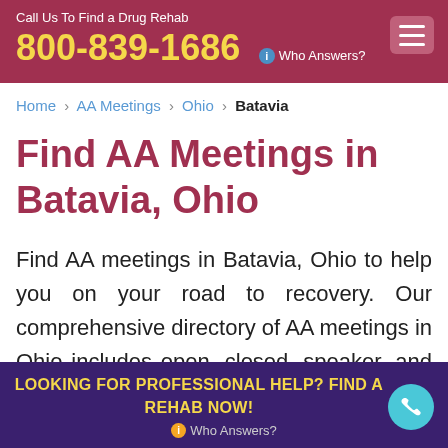Call Us To Find a Drug Rehab
800-839-1686
Who Answers?
Home › AA Meetings › Ohio › Batavia
Find AA Meetings in Batavia, Ohio
Find AA meetings in Batavia, Ohio to help you on your road to recovery. Our comprehensive directory of AA meetings in Ohio includes open, closed, speaker, and other specialized meetings,
LOOKING FOR PROFESSIONAL HELP? FIND A REHAB NOW!
Who Answers?